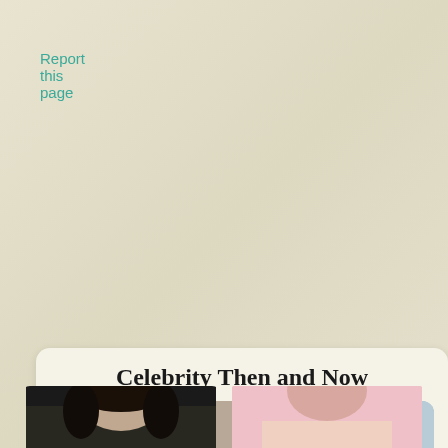Report this page
Celebrity Then and Now
[Figure (photo): Side-by-side comparison photos of Luke Perry when young (left) and older (right)]
Luke Perry Then & Now!
[Figure (photo): Partial bottom photos of another celebrity then and now comparison, cropped at page bottom]